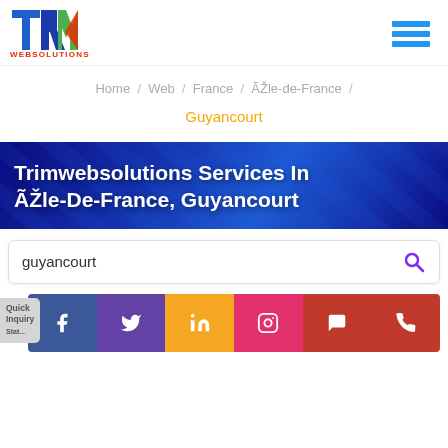[Figure (logo): Trim Websolutions logo with colorful T-R-I-M letters and 'WEBSOLUTIONS' text below]
[Figure (illustration): Hamburger menu icon with three blue horizontal bars]
Home / Web / France / ÃŽle-de-France / Guyancourt
Trimwebsolutions Services In ÃŽle-De-France, Guyancourt
guyancourt
[Figure (illustration): Social media icons row: Facebook, Twitter, LinkedIn, Instagram, WhatsApp, Phone]